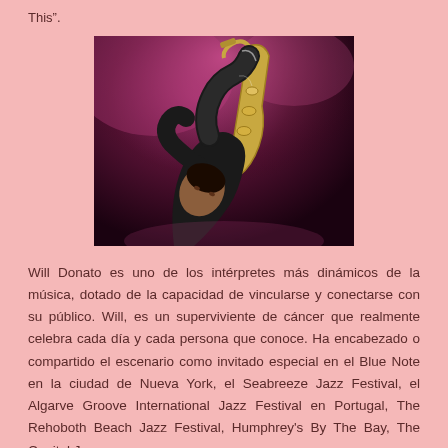This".
[Figure (photo): A saxophone player performing on stage, leaning back with the saxophone raised, lit by purple and pink stage lighting against a dark background.]
Will Donato es uno de los intérpretes más dinámicos de la música, dotado de la capacidad de vincularse y conectarse con su público. Will, es un superviviente de cáncer que realmente celebra cada día y cada persona que conoce. Ha encabezado o compartido el escenario como invitado especial en el Blue Note en la ciudad de Nueva York, el Seabreeze Jazz Festival, el Algarve Groove International Jazz Festival en Portugal, The Rehoboth Beach Jazz Festival, Humphrey's By The Bay, The Capital Jazz